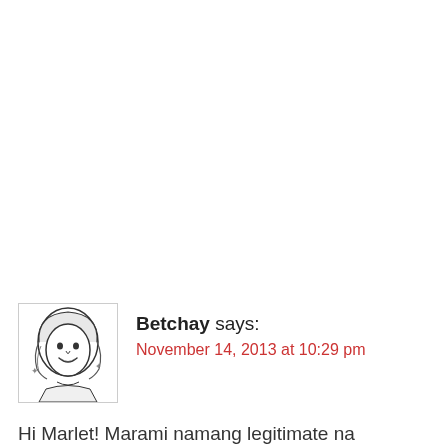[Figure (illustration): Cartoon/caricature avatar of a smiling woman with shoulder-length hair, drawn in black-and-white sketch style]
Betchay says:
November 14, 2013 at 10:29 pm
Hi Marlet! Marami namang legitimate na